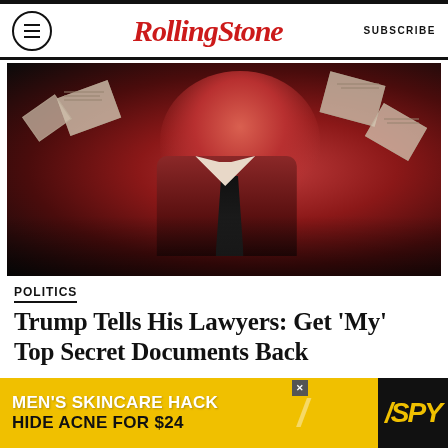Rolling Stone | SUBSCRIBE
[Figure (photo): Red-tinted editorial photo of Donald Trump looking upward with papers flying around him, dramatic dark background]
POLITICS
Trump Tells His Lawyers: Get ‘My’ Top Secret Documents Back
BY ASAWIN SUEBSAENG AND ADAM RAWNSLEY
READ MORE
[Figure (infographic): Advertisement banner: MEN'S SKINCARE HACK HIDE ACNE FOR $24 with SPY logo]